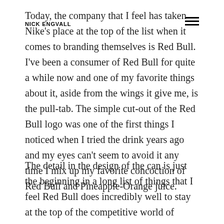NICK ENGVALL
Today, the company that I feel has taken Nike's place at the top of the list when it comes to branding themselves is Red Bull. I've been a consumer of Red Bull for quite a while now and one of my favorite things about it, aside from the wings it give me, is the pull-tab. The simple cut-out of the Red Bull logo was one of the first things I noticed when I tried the drink years ago and my eyes can't seem to avoid it any time I mix up my favorite concoction of Red Bull and Pineapple-Orange juice.
The detail in the design of the can is just the beginning in a long list of things that I feel Red Bull does incredibly well to stay at the top of the competitive world of energy drinks. The online and print magazine that Red Bull recently launched is genius and one of my favorite efforts of the company. It allows them to connect to the passions of their customer